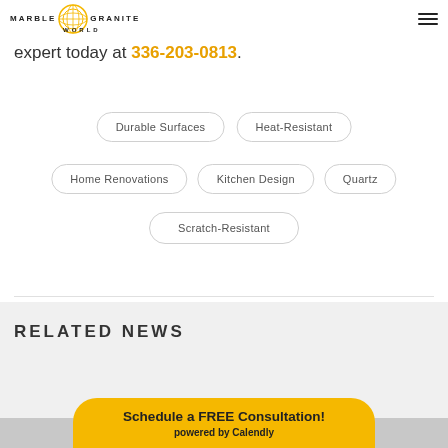MARBLE GRANITE WORLD
Schedule a consultation with a Marble Granite World expert today at 336-203-0813.
Durable Surfaces
Heat-Resistant
Home Renovations
Kitchen Design
Quartz
Scratch-Resistant
RELATED NEWS
Schedule a FREE Consultation! powered by Calendly